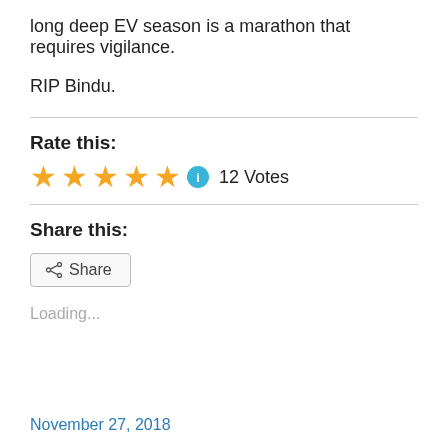long deep EV season is a marathon that requires vigilance.
RIP Bindu.
Rate this:
[Figure (other): Five gold star rating with info icon and '12 Votes' label]
Share this:
[Figure (other): Share button with share icon]
Loading...
November 27, 2018